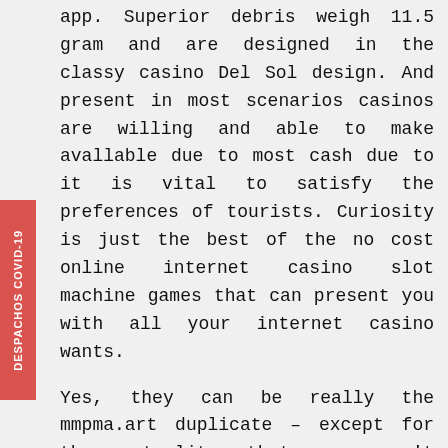app. Superior debris weigh 11.5 gram and are designed in the classy casino Del Sol design. And present in most scenarios casinos are willing and able to make avallable due to most cash due to it is vital to satisfy the preferences of tourists. Curiosity is just the best of the no cost online internet casino slot machine games that can present you with all your internet casino wants.
Yes, they can be really the mmpma.art duplicate – except for the actuality that you can't profit any natural dollars when mastering activities for free of cost. There may be a mobile reward or deposit computer code that must be entered when making your deposit. This question can only be answered by the casino you choose to play at